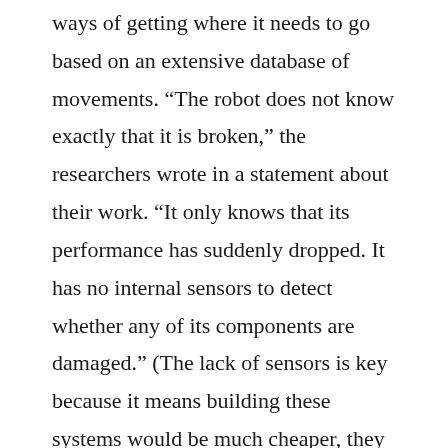ways of getting where it needs to go based on an extensive database of movements. “The robot does not know exactly that it is broken,” the researchers wrote in a statement about their work. “It only knows that its performance has suddenly dropped. It has no internal sensors to detect whether any of its components are damaged.” (The lack of sensors is key because it means building these systems would be much cheaper, they say.)